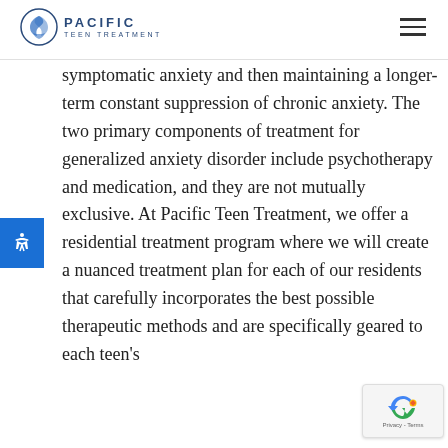Pacific Teen Treatment
symptomatic anxiety and then maintaining a longer-term constant suppression of chronic anxiety. The two primary components of treatment for generalized anxiety disorder include psychotherapy and medication, and they are not mutually exclusive. At Pacific Teen Treatment, we offer a residential treatment program where we will create a nuanced treatment plan for each of our residents that carefully incorporates the best possible therapeutic methods and are specifically geared to each teen's